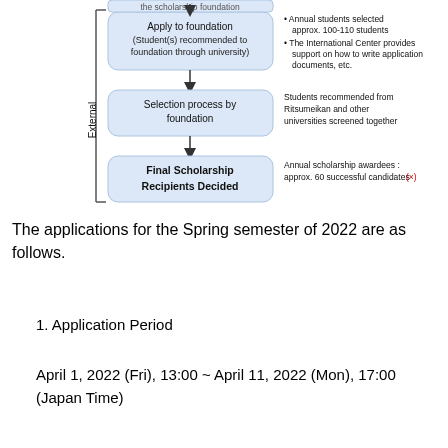[Figure (flowchart): Flowchart showing external scholarship application process: Apply to foundation (Students recommended to foundation through university) with notes about 100-110 students selected and International Center support; Selection process by foundation with note about students from Ritsumeikan and other universities screened together; Final Scholarship Recipients Decided with note about approx. 60 successful candidates (×). The left side is bracketed with label 'External'.]
The applications for the Spring semester of 2022 are as follows.
1. Application Period
April 1, 2022 (Fri), 13:00 ~ April 11, 2022 (Mon), 17:00 (Japan Time)